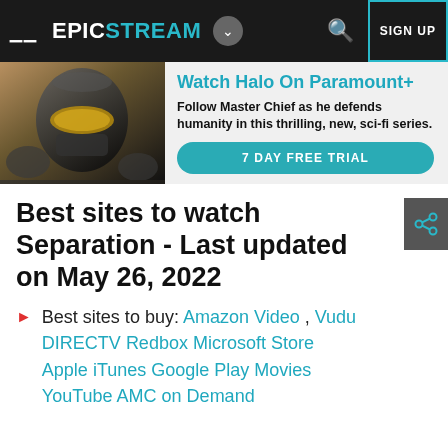EPICSTREAM
[Figure (illustration): Halo Master Chief promotional image with ad card for Watch Halo On Paramount+ with 7 DAY FREE TRIAL button]
Best sites to watch Separation - Last updated on May 26, 2022
Best sites to buy: Amazon Video , Vudu DIRECTV Redbox Microsoft Store Apple iTunes Google Play Movies YouTube AMC on Demand